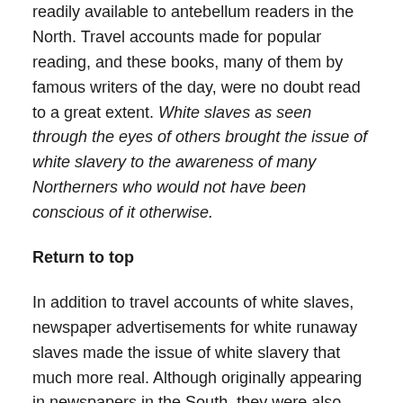readily available to antebellum readers in the North. Travel accounts made for popular reading, and these books, many of them by famous writers of the day, were no doubt read to a great extent. White slaves as seen through the eyes of others brought the issue of white slavery to the awareness of many Northerners who would not have been conscious of it otherwise.
Return to top
In addition to travel accounts of white slaves, newspaper advertisements for white runaway slaves made the issue of white slavery that much more real. Although originally appearing in newspapers in the South, they were also collected and published in abolitionist and other literature in the North, literature that was particularly geared toward people interested in ending slavery. Lydia Maria Child published The Patriarchal Institution in 1860 in which she